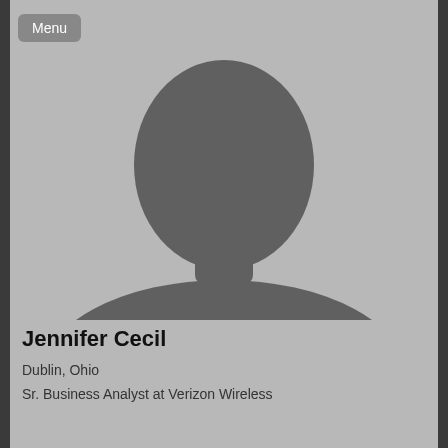[Figure (illustration): Generic silhouette placeholder profile photo of a person on a gray background]
Jennifer Cecil
Dublin, Ohio
Sr. Business Analyst at Verizon Wireless